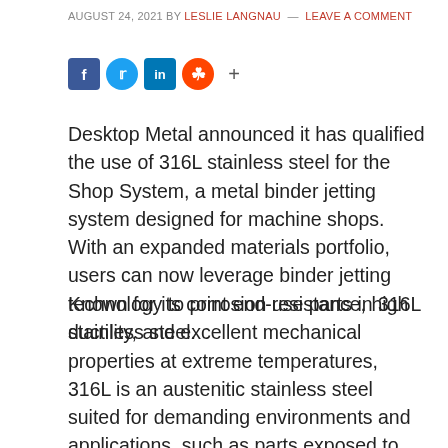AUGUST 24, 2021 BY LESLIE LANGNAU — LEAVE A COMMENT
[Figure (infographic): Social media share icons: Facebook, Twitter, LinkedIn, Reddit, Share]
Desktop Metal announced it has qualified the use of 316L stainless steel for the Shop System, a metal binder jetting system designed for machine shops. With an expanded materials portfolio, users can now leverage binder jetting technology to print end-use parts in 316L stainless steel.
Known for its corrosion resistance, high ductility, and excellent mechanical properties at extreme temperatures, 316L is an austenitic stainless steel suited for demanding environments and applications, such as parts exposed to marine, pharmaceutical, or petrochemical processing, food